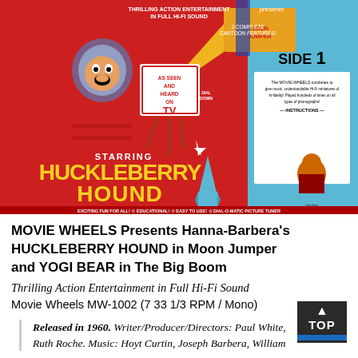[Figure (illustration): Cover art of Movie Wheels Huckleberry Hound album. Red background with cartoon dog in space suit labeled 'As Seen And Heard On TV', with yellow film projector beam, blue rocket, and Yogi Bear on right side. Text 'Starring Huckleberry Hound' in yellow letters. Bottom text: 'Exciting Fun For All! Educational! Easy To Use! Dial-O-Matic Picture Tuner'. Top text: 'Thrilling Action Entertainment In Full Hi-Fi Sound' and '2 Complete Cartoon Features'. Right side shows blue panel with 'Side 1' instructions.]
MOVIE WHEELS Presents Hanna-Barbera's HUCKLEBERRY HOUND in Moon Jumper and YOGI BEAR in The Big Boom
Thrilling Action Entertainment in Full Hi-Fi Sound
Movie Wheels MW-1002 (7 33 1/3 RPM / Mono)
Released in 1960. Writer/Producer/Directors: Paul White, Ruth Roche. Music: Hoyt Curtin, Joseph Barbera, William